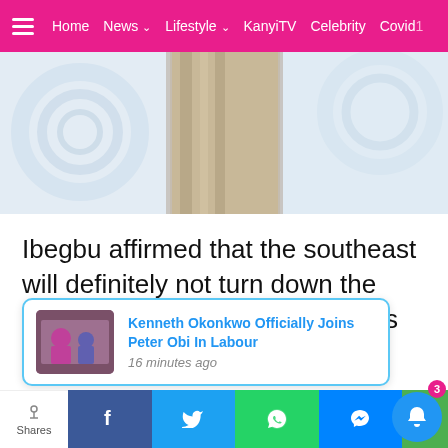Home  News  Lifestyle  KanyiTV  Celebrity  Covid
[Figure (photo): Person in traditional white and beige attire, close-up of upper body]
Ibegbu affirmed that the southeast will definitely not turn down the offer if that happens to be Atiku’s plan.
[Figure (screenshot): Notification popup: Kenneth Okonkwo Officially Joins Peter Obi In Labour — 16 minutes ago, with thumbnail image]
Shares  [Facebook] [Twitter] [WhatsApp] [Messenger]